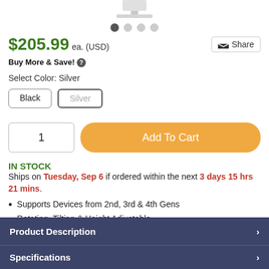[Figure (photo): Product image of a silver Square card reader holder/stand (cropped at top), with image carousel dots below showing 4 dots, first one selected.]
$205.99 ea. (USD)
Buy More & Save! ?
Select Color: Silver
Black
Silver
1
Add To Cart
IN STOCK
Ships on Tuesday, Sep 6 if ordered within the next 3 days 15 hrs 21 mins.
Supports Devices from 2nd, 3rd & 4th Gens
Rotating, Tilting & Height Adjustable
Square Card Reader Holder
Product Description
Specifications